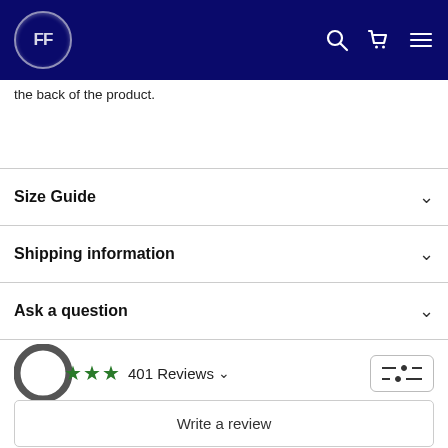[Figure (logo): AF logo in circle on dark navy navigation bar with search, cart, and menu icons]
the back of the product.
Size Guide
Shipping information
Ask a question
401 Reviews
Write a review